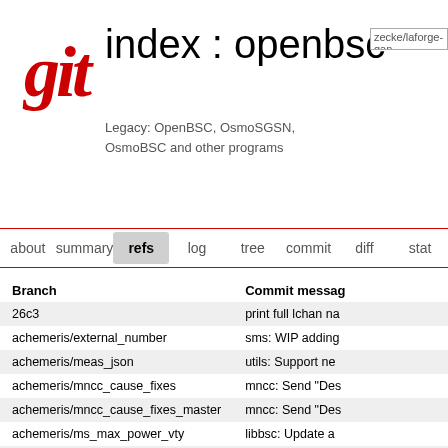[Figure (logo): Git logo - red italic bold 'git' text]
index : openbsc
zecke/laforge-gan...
Legacy: OpenBSC, OsmoSGSN, OsmoBSC and other programs
about  summary  refs  log  tree  commit  diff  stat
| Branch | Commit messag... |
| --- | --- |
| 26c3 | print full lchan na... |
| achemeris/external_number | sms: WIP adding... |
| achemeris/meas_json | utils: Support ne... |
| achemeris/mncc_cause_fixes | mncc: Send "Des... |
| achemeris/mncc_cause_fixes_master | mncc: Send "Des... |
| achemeris/ms_max_power_vty | libbsc: Update a... |
| achemeris/sms-validity-fix | libmsc,sms: Prop... |
| achemeris/sms_fixes | sms: WIP implem... |
| aoip | fix typo |
| camp2011 | rsl: add timer to r... |
| ciaby/2015-07-28 | nitb: Rename "us... |
| ciaby/2015-08-06 | Merge branch 'ze... |
| ciaby/2015-08-10 | Handover fix, ne... |
| ciaby/rhizomatica | Added workarou... |
| ciaby/rhizomatica-19082014 | Last rebase again... |